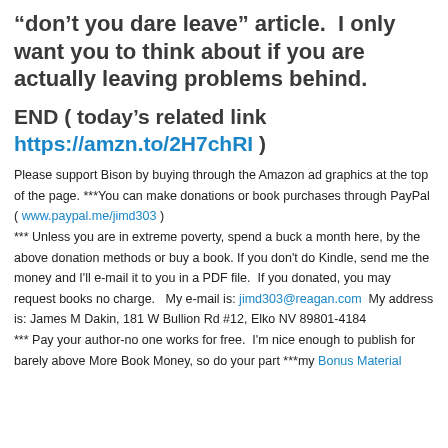“don’t you dare leave” article.  I only want you to think about if you are actually leaving problems behind.
END ( today’s related link https://amzn.to/2H7chRI )
Please support Bison by buying through the Amazon ad graphics at the top of the page. ***You can make donations or book purchases through PayPal ( www.paypal.me/jimd303 )
*** Unless you are in extreme poverty, spend a buck a month here, by the above donation methods or buy a book. If you don't do Kindle, send me the money and I'll e-mail it to you in a PDF file.  If you donated, you may request books no charge.   My e-mail is: jimd303@reagan.com  My address is: James M Dakin, 181 W Bullion Rd #12, Elko NV 89801-4184
*** Pay your author-no one works for free.  I'm nice enough to publish for barely above More Book Money, so do your part ***my Bonus Material